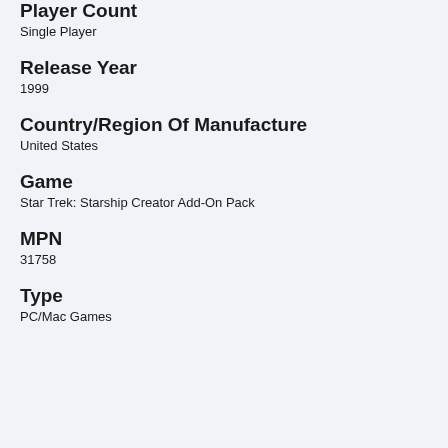Player Count
Single Player
Release Year
1999
Country/Region Of Manufacture
United States
Game
Star Trek: Starship Creator Add-On Pack
MPN
31758
Type
PC/Mac Games